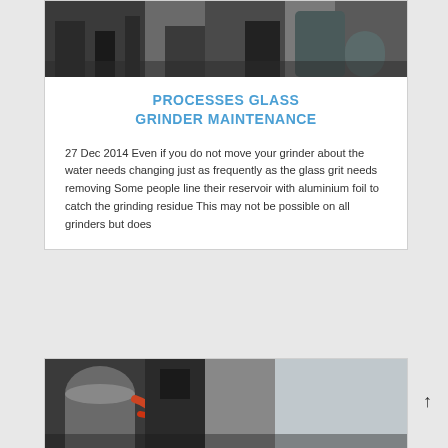[Figure (photo): Industrial glass grinder machinery in a workshop setting, showing large equipment and a cylindrical hopper on the right]
PROCESSES GLASS GRINDER MAINTENANCE
27 Dec 2014 Even if you do not move your grinder about the water needs changing just as frequently as the glass grit needs removing Some people line their reservoir with aluminium foil to catch the grinding residue This may not be possible on all grinders but does
[Figure (photo): Close-up of industrial glass grinder machinery showing hydraulic hoses and mechanical components]